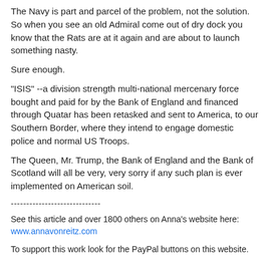The Navy is part and parcel of the problem, not the solution. So when you see an old Admiral come out of dry dock you know that the Rats are at it again and are about to launch something nasty.
Sure enough.
"ISIS" --a division strength multi-national mercenary force bought and paid for by the Bank of England and financed through Quatar has been retasked and sent to America, to our Southern Border, where they intend to engage domestic police and normal US Troops.
The Queen, Mr. Trump, the Bank of England and the Bank of Scotland will all be very, very sorry if any such plan is ever implemented on American soil.
-----------------------------
See this article and over 1800 others on Anna's website here: www.annavonreitz.com
To support this work look for the PayPal buttons on this website.